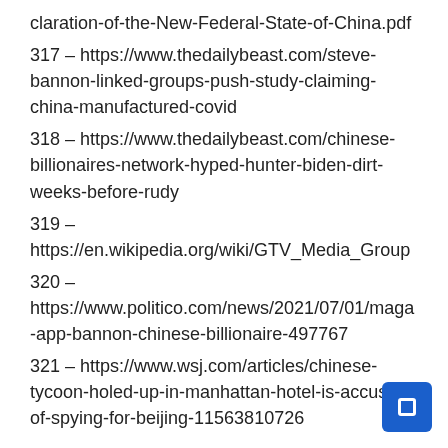claration-of-the-New-Federal-State-of-China.pdf
317 – https://www.thedailybeast.com/steve-bannon-linked-groups-push-study-claiming-china-manufactured-covid
318 – https://www.thedailybeast.com/chinese-billionaires-network-hyped-hunter-biden-dirt-weeks-before-rudy
319 – https://en.wikipedia.org/wiki/GTV_Media_Group
320 – https://www.politico.com/news/2021/07/01/maga-app-bannon-chinese-billionaire-497767
321 – https://www.wsj.com/articles/chinese-tycoon-holed-up-in-manhattan-hotel-is-accused-of-spying-for-beijing-11563810726